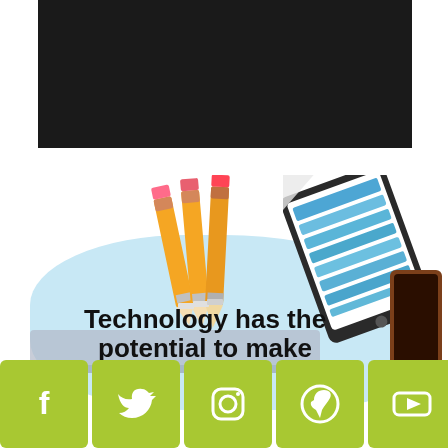[Figure (illustration): Dark black rectangular banner/header area at the top of the page]
[Figure (infographic): Educational technology infographic showing pencils, a tablet with blue horizontal stripes on screen, a light blue cloud/blob background shape, bold text reading 'Technology has the potential to make', a coffee cup on the right side, and a row of social media icons (Facebook, Twitter, Instagram, Pinterest, YouTube) on a green/yellow-green background at the bottom]
Technology has the potential to make
[Figure (infographic): Row of social media icons on yellow-green background: Facebook, Twitter, Instagram, Pinterest, YouTube]